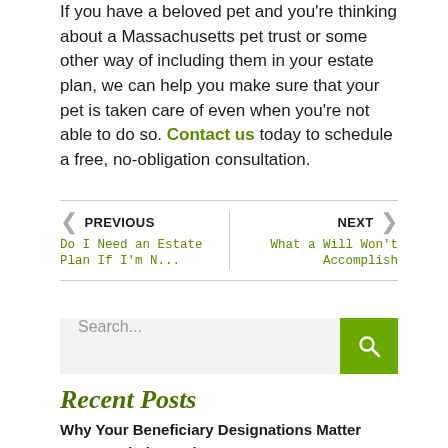If you have a beloved pet and you're thinking about a Massachusetts pet trust or some other way of including them in your estate plan, we can help you make sure that your pet is taken care of even when you're not able to do so. Contact us today to schedule a free, no-obligation consultation.
PREVIOUS | Do I Need an Estate Plan If I'm N... | NEXT | What a Will Won't Accomplish
Search...
Recent Posts
Why Your Beneficiary Designations Matter
How Married Couples Can Save on Massachusetts...